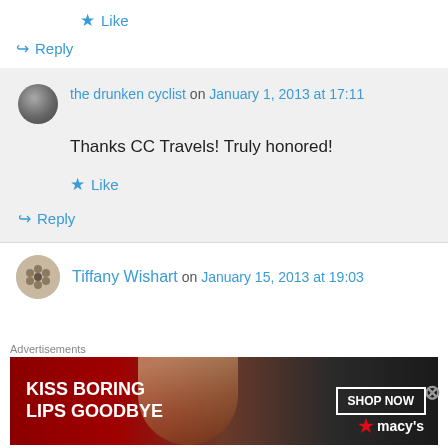★ Like
↪ Reply
the drunken cyclist on January 1, 2013 at 17:11
Thanks CC Travels! Truly honored!
★ Like
↪ Reply
Tiffany Wishart on January 15, 2013 at 19:03
[Figure (photo): Advertisement banner for Macy's: KISS BORING LIPS GOODBYE with SHOP NOW button and Macy's logo]
Advertisements